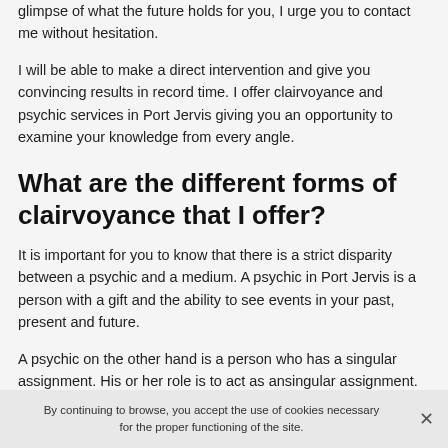glimpse of what the future holds for you, I urge you to contact me without hesitation.
I will be able to make a direct intervention and give you convincing results in record time. I offer clairvoyance and psychic services in Port Jervis giving you an opportunity to examine your knowledge from every angle.
What are the different forms of clairvoyance that I offer?
It is important for you to know that there is a strict disparity between a psychic and a medium. A psychic in Port Jervis is a person with a gift and the ability to see events in your past, present and future.
A psychic on the other hand is a person who has a singular assignment. His or her role is to act as an
By continuing to browse, you accept the use of cookies necessary for the proper functioning of the site.